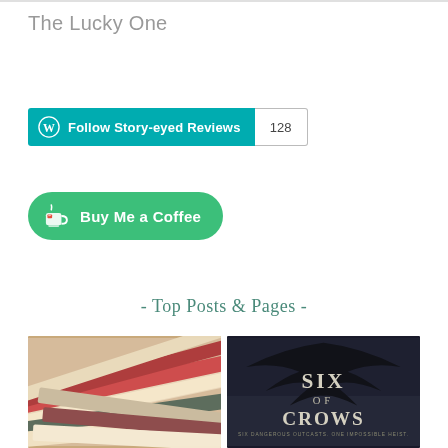The Lucky One
[Figure (infographic): WordPress Follow button for Story-eyed Reviews blog with follower count of 128]
[Figure (infographic): Buy Me a Coffee green rounded button with coffee cup icon]
- Top Posts & Pages -
[Figure (photo): Stacked colorful books photographed from above]
[Figure (photo): Six of Crows book cover with dark wings and stylized text]